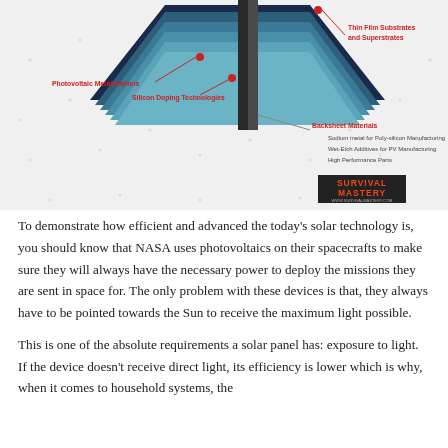[Figure (schematic): Exploded schematic diagram of solar panel layers with labeled components: Thin Film Substrates and Superstrates (top right), Photovoltaic Metallizations (left), Silicon Doping Technologies (center-left), Backsheet Materials (center-right) with sub-labels: Sodium metal for Poly-silicon Manufacturing, Wet-Etch Additives for PV Manufacturing, High Performance Parts. Survival Mastery logo at bottom right.]
To demonstrate how efficient and advanced the today's solar technology is, you should know that NASA uses photovoltaics on their spacecrafts to make sure they will always have the necessary power to deploy the missions they are sent in space for. The only problem with these devices is that, they always have to be pointed towards the Sun to receive the maximum light possible.
This is one of the absolute requirements a solar panel has: exposure to light. If the device doesn't receive direct light, its efficiency is lower which is why, when it comes to household systems, the